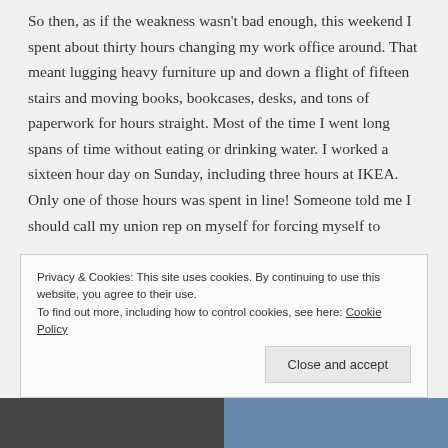So then, as if the weakness wasn't bad enough, this weekend I spent about thirty hours changing my work office around. That meant lugging heavy furniture up and down a flight of fifteen stairs and moving books, bookcases, desks, and tons of paperwork for hours straight. Most of the time I went long spans of time without eating or drinking water. I worked a sixteen hour day on Sunday, including three hours at IKEA. Only one of those hours was spent in line! Someone told me I should call my union rep on myself for forcing myself to
Privacy & Cookies: This site uses cookies. By continuing to use this website, you agree to their use.
To find out more, including how to control cookies, see here: Cookie Policy
Close and accept
[Figure (photo): Bottom strip showing partial photos — dark/grey tones on left, blue on right]